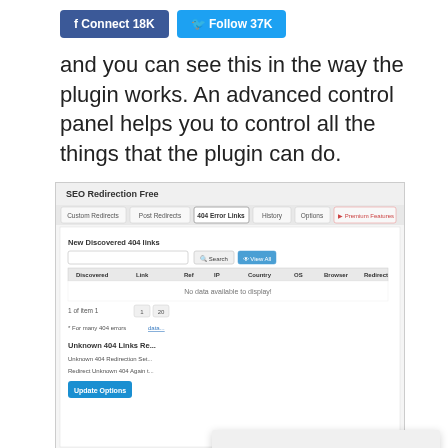[Figure (screenshot): Facebook Connect 18K and Twitter Follow 37K social buttons]
and you can see this in the way the plugin works. An advanced control panel helps you to control all the things that the plugin can do.
[Figure (screenshot): SEO Redirection Free plugin admin panel screenshot showing Custom Redirects, Post Redirects, 404 Error Links, History, Options, Premium Features tabs, and a table with columns Discovered, Link, Ref, IP, Country, OS, Browser, Redirect showing 'No data available to display']
[Figure (screenshot): Cookie consent popup: 'This website uses cookies to ensure you get the best experience on our website. Read Privacy Policy' with a blue 'Got it!' button]
You can m them all w possible, and so is wild card redirection. Entire folder